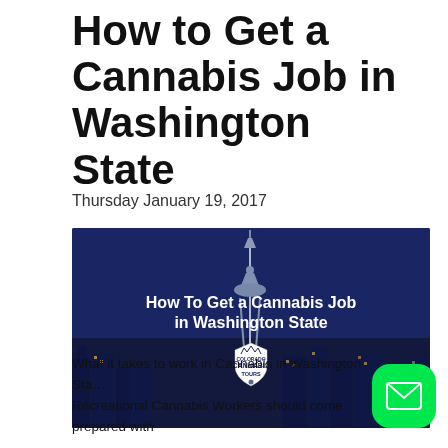How to Get a Cannabis Job in Washington State
Thursday January 19, 2017
[Figure (photo): Night skyline of Seattle with Space Needle, overlaid with text 'How To Get a Cannabis Job in Washington State' and a Colorado Cannabis Tours logo/badge]
What it takes to work in Cannabis in Washington State

Recreational Cannabis Workers should come prepared with